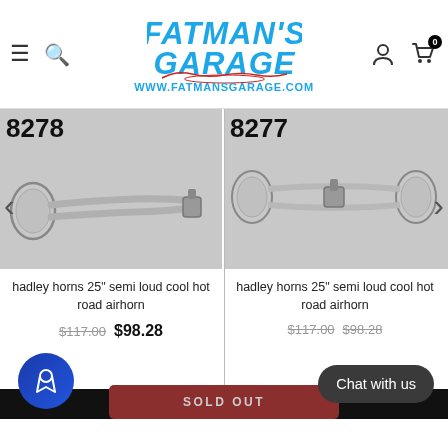Fatman's Garage - www.fatmansgarage.com
[Figure (photo): Product photo of item 8278 - hadley single chrome trumpet airhorn, single tube, approximately 25 inches long]
[Figure (photo): Product photo of item 8277 - hadley double chrome trumpet airhorn, two tubes side by side, approximately 25 inches long]
hadley horns 25" semi loud cool hot road airhorn
$117.00  $98.28
hadley horns 25" semi loud cool hot road airhorn
$117.00  $98.28
SOLD OUT